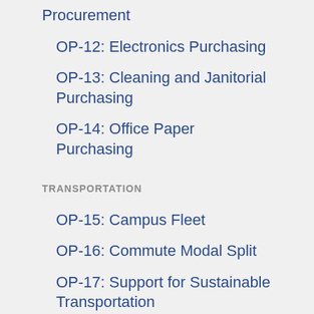Procurement
OP-12: Electronics Purchasing
OP-13: Cleaning and Janitorial Purchasing
OP-14: Office Paper Purchasing
TRANSPORTATION
OP-15: Campus Fleet
OP-16: Commute Modal Split
OP-17: Support for Sustainable Transportation
WASTE
OP-18: Waste Minimization and Diversion
Website URL whe may be found:
https://climatec
STARS credit in wh applicable):
Numerous
A photograph or do
CCI_Leadership